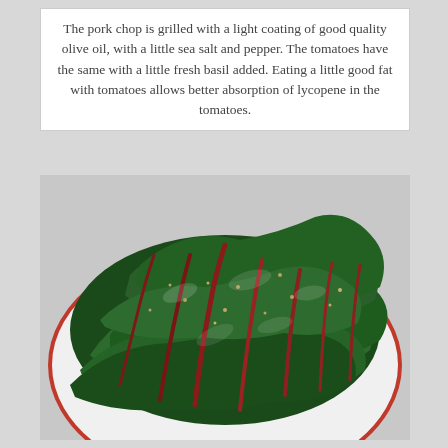The pork chop is grilled with a light coating of good quality olive oil, with a little sea salt and pepper. The tomatoes have the same with a little fresh basil added. Eating a little good fat with tomatoes allows better absorption of lycopene in the tomatoes.
[Figure (photo): A close-up photo of sautéed or wilted Swiss chard (dark green leafy vegetable with red stems) served on a white plate with a red rim. The leaves are glossy and appear seasoned with salt or sesame seeds.]